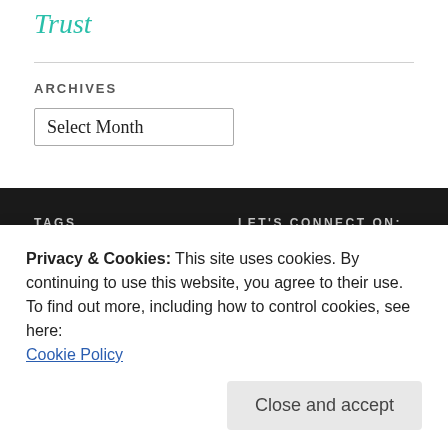Trust
ARCHIVES
Select Month
TAGS
LET'S CONNECT ON:
accountability adaptability
Privacy & Cookies: This site uses cookies. By continuing to use this website, you agree to their use.
To find out more, including how to control cookies, see here:
Cookie Policy
Close and accept
Enter your Email-